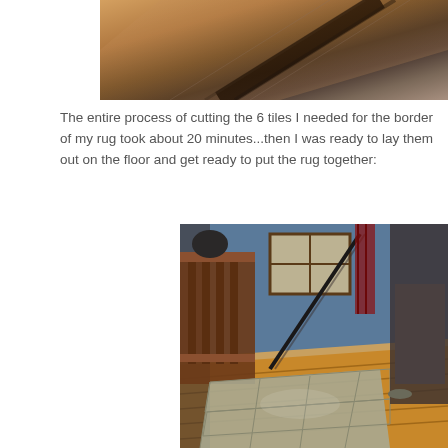[Figure (photo): Close-up photo of dark wood material at an angle, showing wood grain texture against a lighter background]
The entire process of cutting the 6 tiles I needed for the border of my rug took about 20 minutes...then I was ready to lay them out on the floor and get ready to put the rug together:
[Figure (photo): Room interior showing a wooden furniture piece (bed frame or bench) against a blue wall, with tile/carpet squares laid out on the floor, and other furniture visible in the background]